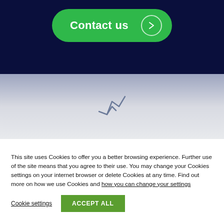[Figure (screenshot): Dark navy blue background section with a green rounded 'Contact us' button featuring a right-arrow circle icon]
[Figure (logo): Light grey-to-white gradient background section with a small grey stylized checkmark/lightning bolt logo icon centered]
This site uses Cookies to offer you a better browsing experience. Further use of the site means that you agree to their use. You may change your Cookies settings on your internet browser or delete Cookies at any time. Find out more on how we use Cookies and how you can change your settings
Cookie settings
ACCEPT ALL